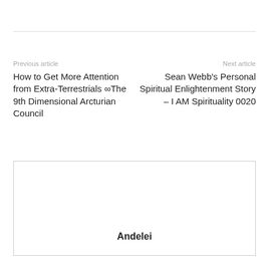Previous article
Next article
How to Get More Attention from Extra-Terrestrials ∞The 9th Dimensional Arcturian Council
Sean Webb's Personal Spiritual Enlightenment Story – I AM Spirituality 0020
Andelei